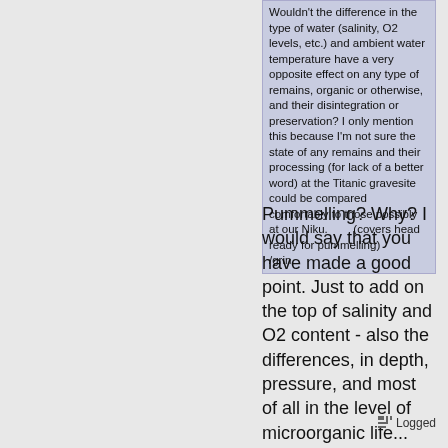Wouldn't the difference in the type of water (salinity, O2 levels, etc.) and ambient water temperature have a very opposite effect on any type of remains, organic or otherwise, and their disintegration or preservation? I only mention this because I'm not sure the state of any remains and their processing (for lack of a better word) at the Titanic gravesite could be compared comfortably to those possibly at our Niku.        (covers head ready for pummelling)
/grin
Pummelling? Why? I would say that you have made a good point. Just to add on the top of salinity and O2 content - also the differences, in depth, pressure, and most of all in the level of microorganic life...
Logged